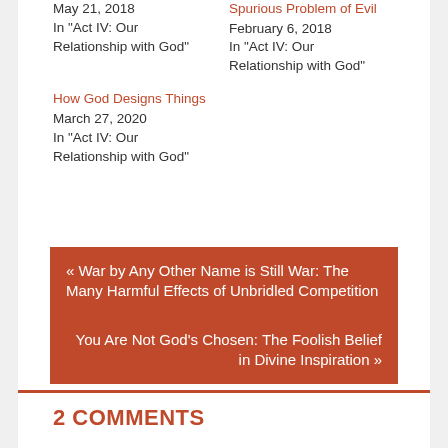May 21, 2018
In "Act IV: Our Relationship with God"
Spurious Problem of Evil
February 6, 2018
In "Act IV: Our Relationship with God"
How God Designs Things
March 27, 2020
In "Act IV: Our Relationship with God"
« War by Any Other Name is Still War: The Many Harmful Effects of Unbridled Competition
You Are Not God's Chosen: The Foolish Belief in Divine Inspiration »
2 COMMENTS